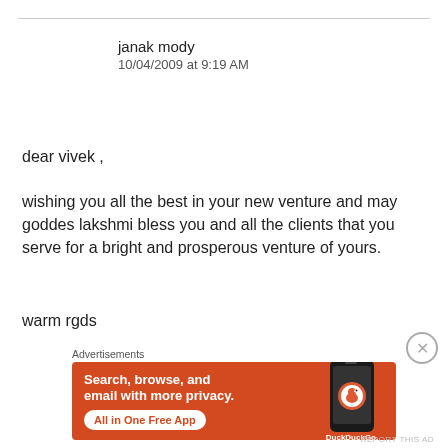janak mody
10/04/2009 at 9:19 AM
dear vivek ,
wishing you all the best in your new venture and may goddes lakshmi bless you and all the clients that you serve for a bright and prosperous venture of yours.
warm rgds
Advertisements
[Figure (other): DuckDuckGo advertisement banner: Search, browse, and email with more privacy. All in One Free App. Shows DuckDuckGo logo on phone.]